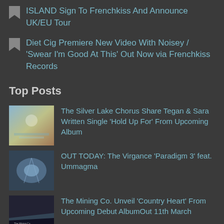ISLAND Sign To Frenchkiss And Announce UK/EU Tour
Diet Cig Premiere New Video With Noisey / 'Swear I'm Good At This' Out Now via Frenchkiss Records
Top Posts
The Silver Lake Chorus Share Tegan & Sara Written Single 'Hold Up For' From Upcoming Album
OUT TODAY: The Virgance 'Paradigm 3' feat. Ummagma
The Mining Co. Unveil 'Country Heart' From Upcoming Debut AlbumOut 11th March
SHAED Share Second Track 'Trampoline'